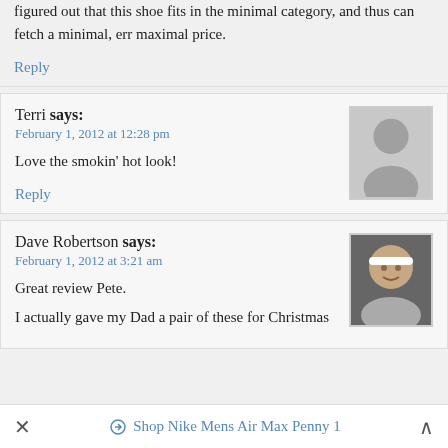Mizuno racing flat being cheap? Perhaps Mizuno has figured out that this shoe fits in the minimal category, and thus can fetch a minimal, err maximal price.
Reply
Terri says:
February 1, 2012 at 12:28 pm
Love the smokin' hot look!
Reply
Dave Robertson says:
February 1, 2012 at 3:21 am
Great review Pete.
I actually gave my Dad a pair of these for Christmas
Shop Nike Mens Air Max Penny 1